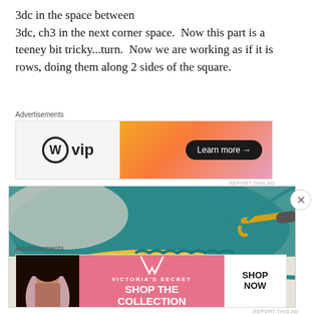3dc in the space between
3dc, ch3 in the next corner space.  Now this part is a teeney bit tricky...turn.  Now we are working as if it is rows, doing them along 2 sides of the square.
[Figure (other): Advertisements banner: WordPress VIP logo on white left side, orange-pink gradient right side with 'Learn more →' button in black pill. REPORT THIS AD text below.]
[Figure (photo): Close-up photo of crochet work in progress: teal/turquoise yarn being worked with a gold crochet hook, showing yellow granny square stitches below, on a light surface.]
[Figure (other): Advertisements banner: Victoria's Secret ad, pink background, model photo on left, VS logo, 'SHOP THE COLLECTION' text center, white 'SHOP NOW' button on right. REPORT THIS AD text below.]